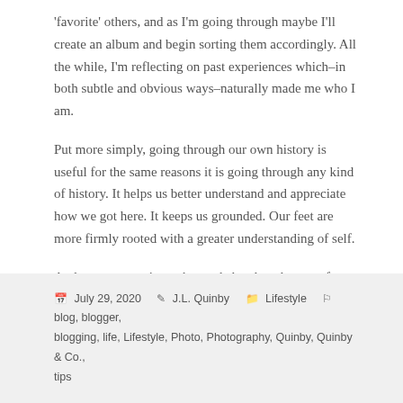'favorite' others, and as I'm going through maybe I'll create an album and begin sorting them accordingly. All the while, I'm reflecting on past experiences which–in both subtle and obvious ways–naturally made me who I am.
Put more simply, going through our own history is useful for the same reasons it is going through any kind of history. It helps us better understand and appreciate how we got here. It keeps us grounded. Our feet are more firmly rooted with a greater understanding of self.
And so as we navigate the road ahead, and some of us are pushed to limits we never anticipated, remembrance might prove more valuable, and more necessary than we realize.
July 29, 2020  J.L. Quinby  Lifestyle  blog, blogger, blogging, life, Lifestyle, Photo, Photography, Quinby, Quinby & Co., tips